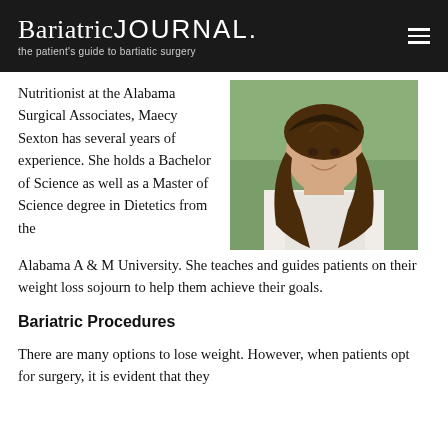BariatricJOURNAL the patient's guide to bartiatic surgery
Nutritionist at the Alabama Surgical Associates, Maecy Sexton has several years of experience. She holds a Bachelor of Science as well as a Master of Science degree in Dietetics from the Alabama A & M University. She teaches and guides patients on their weight loss sojourn to help them achieve their goals.
[Figure (photo): Portrait photo of Maecy Sexton, a woman with long brown wavy hair, smiling, wearing a white top, photographed outdoors.]
Bariatric Procedures
There are many options to lose weight. However, when patients opt for surgery, it is evident that they